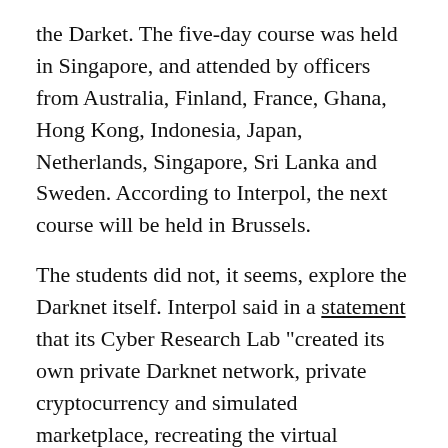the Darket. The five-day course was held in Singapore, and attended by officers from Australia, Finland, France, Ghana, Hong Kong, Indonesia, Japan, Netherlands, Singapore, Sri Lanka and Sweden. According to Interpol, the next course will be held in Brussels.
The students did not, it seems, explore the Darknet itself. Interpol said in a statement that its Cyber Research Lab "created its own private Darknet network, private cryptocurrency and simulated marketplace, recreating the virtual 'underground' environment used by criminals to avoid detection."
This simulated Darknet enabled students to play roles as vendors, buyers and administrators to learn how Tor network hidden services actually work. "Exercises also included live law enforcement